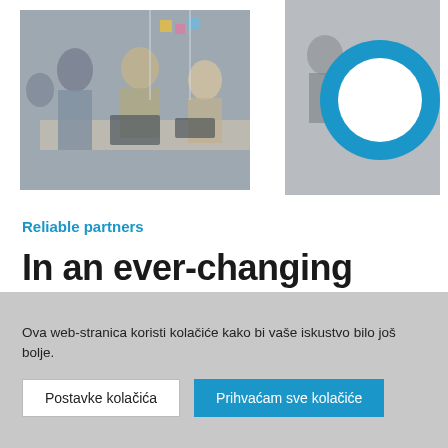[Figure (photo): Office meeting scene with people around a table, one person holding a tablet]
[Figure (logo): Blue circle ring logo on a grey/white photo background]
Reliable partners
In an ever-changing world, a reliable partner is the only constant
Ova web-stranica koristi kolačiće kako bi vaše iskustvo bilo još bolje.
Postavke kolačića
Prihvaćam sve kolačiće